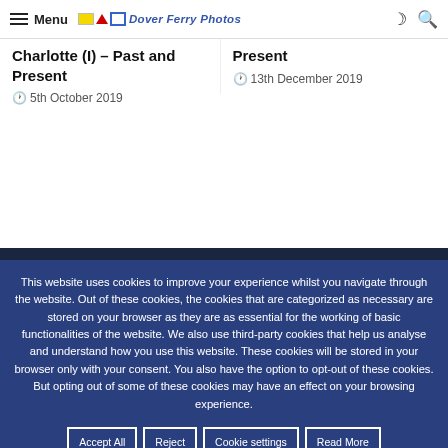Menu | Dover Ferry Photos
Charlotte (I) – Past and Present
5th October 2019
Present
13th December 2019
This website uses cookies to improve your experience whilst you navigate through the website. Out of these cookies, the cookies that are categorized as necessary are stored on your browser as they are as essential for the working of basic functionalities of the website. We also use third-party cookies that help us analyse and understand how you use this website. These cookies will be stored in your browser only with your consent. You also have the option to opt-out of these cookies. But opting out of some of these cookies may have an effect on your browsing experience.
Accept All
Reject
Cookie settings
Read More